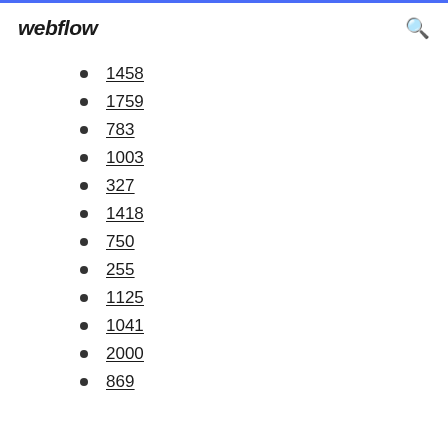webflow
1458
1759
783
1003
327
1418
750
255
1125
1041
2000
869